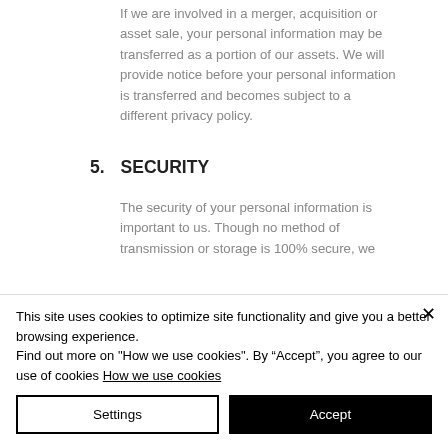If we are involved in a merger, acquisition or asset sale, your personal information may be transferred as a portion of our assets. We will provide notice before your personal information is transferred and becomes subject to a different privacy policy.
5.   SECURITY
The security of your personal information is important to us. Though no method of transmission or storage is 100% secure, we
This site uses cookies to optimize site functionality and give you a better browsing experience.
Find out more on "How we use cookies". By “Accept”, you agree to our use of cookies How we use cookies
Settings
Accept